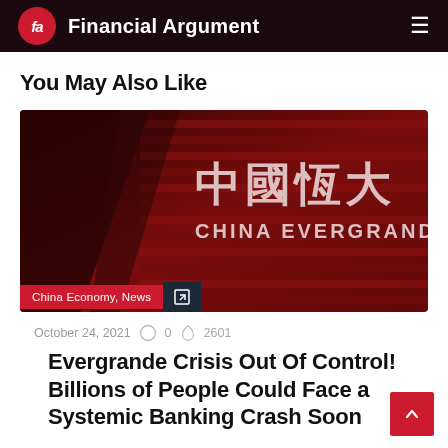fa Financial Argument
You May Also Like
[Figure (photo): China Evergrande building facade with Chinese characters 中國恆大 and CHINA EVERGRANDE text, red-tinted photo]
China Economy, News
October 24, 2021  0  2601
Evergrande Crisis Out Of Control! Billions of People Could Face a Systemic Banking Crash Soon